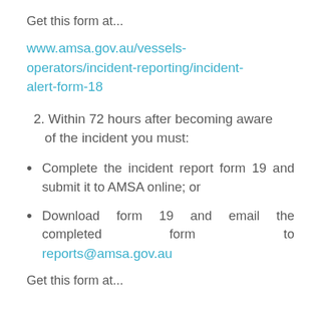Get this form at...
www.amsa.gov.au/vessels-operators/incident-reporting/incident-alert-form-18
2. Within 72 hours after becoming aware of the incident you must:
Complete the incident report form 19 and submit it to AMSA online; or
Download form 19 and email the completed form to reports@amsa.gov.au
Get this form at...